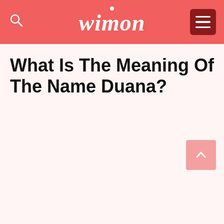wimon
What Is The Meaning Of The Name Duana?